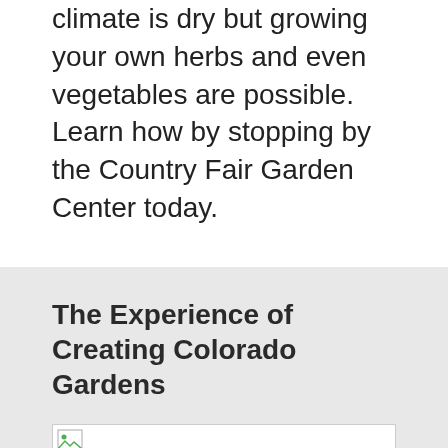climate is dry but growing your own herbs and even vegetables are possible. Learn how by stopping by the Country Fair Garden Center today.
The Experience of Creating Colorado Gardens
[Figure (photo): Broken image placeholder icon in a white bordered box on a light gray background]